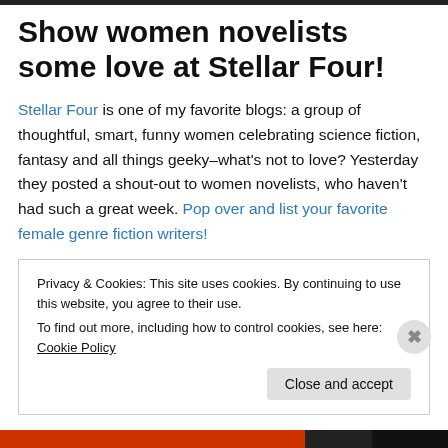Show women novelists some love at Stellar Four!
Stellar Four is one of my favorite blogs: a group of thoughtful, smart, funny women celebrating science fiction, fantasy and all things geeky–what's not to love? Yesterday they posted a shout-out to women novelists, who haven't had such a great week. Pop over and list your favorite female genre fiction writers!
Privacy & Cookies: This site uses cookies. By continuing to use this website, you agree to their use. To find out more, including how to control cookies, see here: Cookie Policy